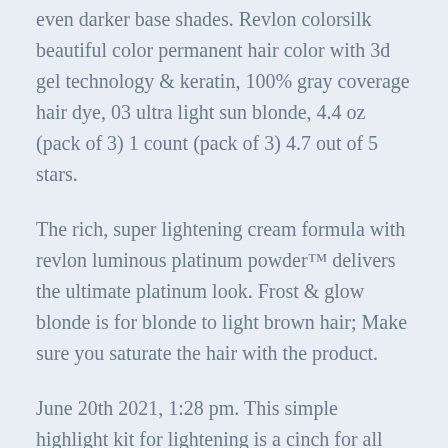even darker base shades. Revlon colorsilk beautiful color permanent hair color with 3d gel technology & keratin, 100% gray coverage hair dye, 03 ultra light sun blonde, 4.4 oz (pack of 3) 1 count (pack of 3) 4.7 out of 5 stars.
The rich, super lightening cream formula with revlon luminous platinum powder™ delivers the ultimate platinum look. Frost & glow blonde is for blonde to light brown hair; Make sure you saturate the hair with the product.
June 20th 2021, 1:28 pm. This simple highlight kit for lightening is a cinch for all kinds of blonde looks that are never brassy, and more precise highlights. Then the next day we decided to lighten up his sides, and he was happy!